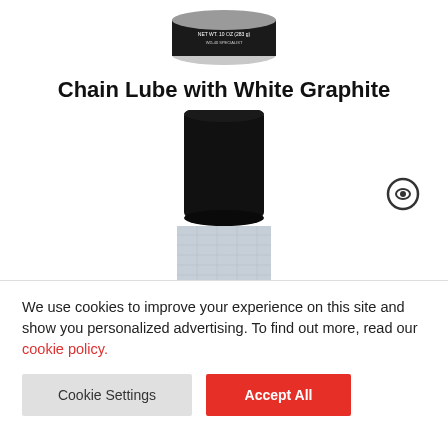[Figure (photo): Top portion of a spray can (Chain Lube with White Graphite product), bottom of the can visible from above]
Chain Lube with White Graphite
[Figure (photo): Bottom portion of a spray can (Chain Lube with White Graphite), showing the black cap and label top]
[Figure (illustration): Eye/visibility icon (circle with eye symbol)]
We use cookies to improve your experience on this site and show you personalized advertising. To find out more, read our cookie policy.
Cookie Settings
Accept All